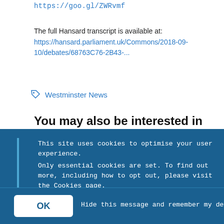https://goo.gl/ZWRvmf
The full Hansard transcript is available at: https://hansard.parliament.uk/Commons/2018-09-10/debates/68763C76-2B43-...
Westminster News
You may also be interested in
[Figure (photo): Thumbnail photo of a man in a suit speaking in what appears to be a parliamentary chamber with wooden paneling in the background]
This site uses cookies to optimise your user experience.
Only essential cookies are set. To find out more, including how to opt out, please visit the Cookies page.
OK   Hide this message and remember my decision